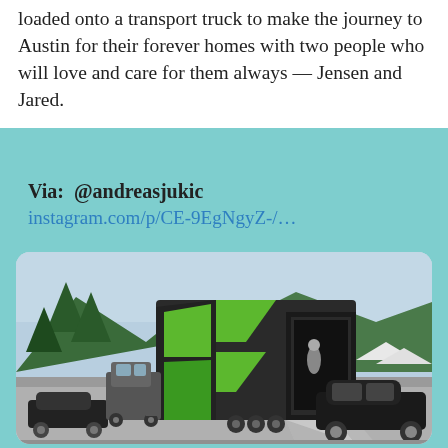loaded onto a transport truck to make the journey to Austin for their forever homes with two people who will love and care for them always — Jensen and Jared.
Via:  @andreasjukic
instagram.com/p/CE-9EgNgyZ-/...
[Figure (photo): A large green and black enclosed car transport trailer with ramp doors open, parked on a gravel/concrete surface. A black classic car is visible to the right beside the trailer. Trees and mountains are in the background under a blue sky.]